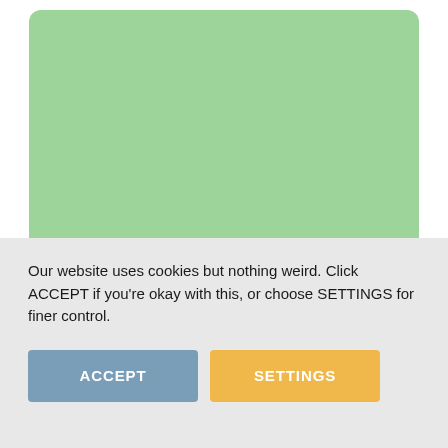[Figure (illustration): A light green rounded rectangle book card with the publisher name 'David Zwirner Books' displayed in the lower left area of the card.]
David Zwirner Books
Oh, to Be a Painter!
Our website uses cookies but nothing weird. Click ACCEPT if you're okay with this, or choose SETTINGS for finer control.
ACCEPT
SETTINGS